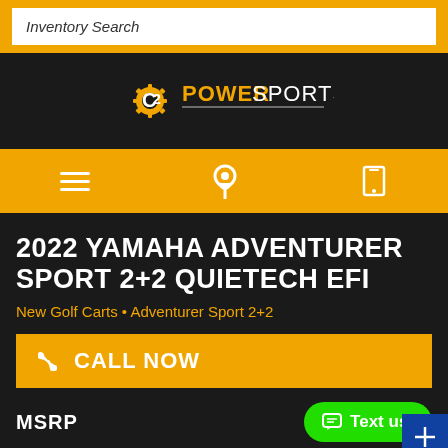Inventory Search
[Figure (logo): C2 PowerSports logo — orange C2 gear icon with white POWERSPORTS text on dark background]
[Figure (infographic): Orange navigation bar with hamburger menu icon, location pin icon, and phone icon]
2022 YAMAHA ADVENTURER SPORT 2+2 QUIETECH EFI
New Golf Carts • Adventurer Sport 2+2
CALL NOW
MSRP
Text us!